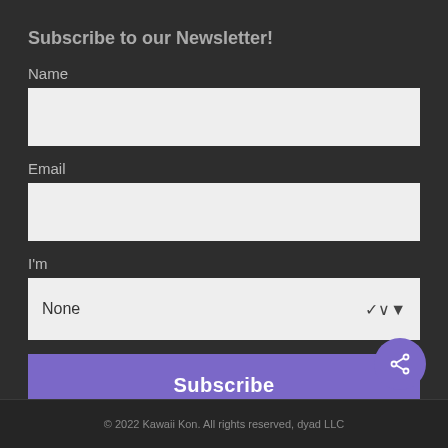Subscribe to our Newsletter!
Name
Email
I'm
None
Subscribe
[Figure (other): Purple circular share/connect button with share icon]
© 2022 Kawaii Kon. All rights reserved, dyad LLC